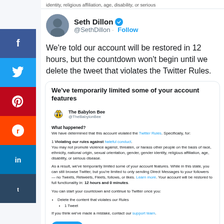identity, religious affiliation, age, disability, or serious
[Figure (photo): Seth Dillon avatar photo]
Seth Dillon @SethDillon · Follow
We're told our account will be restored in 12 hours, but the countdown won't begin until we delete the tweet that violates the Twitter Rules.
[Figure (screenshot): Twitter account limitation notice showing: We've temporarily limited some of your account features. The Babylon Bee @TheBabylonBee account. What happened? We have determined that this account violated the Twitter Rules. Specifically, for: 1 Violating our rules against hateful conduct. You may not promote violence against, threaten, or harass other people on the basis of race, ethnicity, national origin, sexual orientation, gender, gender identity, religious affiliation, age, disability, or serious disease. As a result, we've temporarily limited some of your account features. While in this state, you can still browse Twitter, but you're limited to only sending Direct Messages to your followers — no Tweets, Retweets, Fleets, follows, or likes. Learn more. Your account will be restored to full functionality in: 12 hours and 0 minutes. You can start your countdown and continue to Twitter once you: Delete the content that violates our Rules, 1 Tweet. If you think we've made a mistake, contact our support team. Start button.]